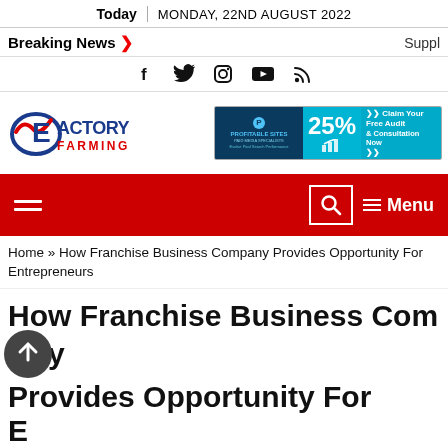Today | MONDAY, 22ND AUGUST 2022
Breaking News > Suppl
[Figure (infographic): Social media icons: Facebook, Twitter, Instagram, YouTube, RSS]
[Figure (logo): Factory Farming logo — stylized letter E with checkmark swoosh in blue/red, text FACTORY FARMING]
[Figure (infographic): Ad banner: PROFITABLE SITES 25% Claim Your Free Audit & Consultation Now]
[Figure (infographic): Red navigation bar with hamburger menu on left, search icon and Menu label on right]
Home » How Franchise Business Company Provides Opportunity For Entrepreneurs
How Franchise Business Company Provides Opportunity For Entrepreneurs